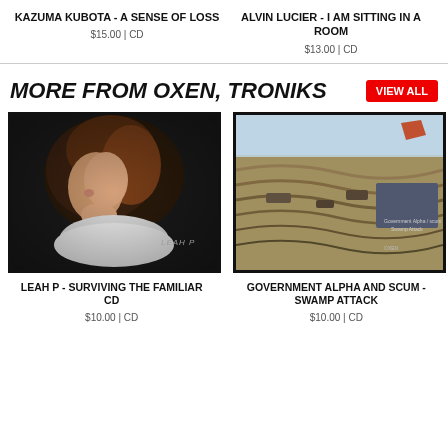KAZUMA KUBOTA - A SENSE OF LOSS
$15.00 | CD
ALVIN LUCIER - I AM SITTING IN A ROOM
$13.00 | CD
MORE FROM OXEN, TRONIKS
[Figure (photo): Album cover for Leah P - Surviving the Familiar CD, showing a woman's profile in dim lighting with text 'LEAH P' visible]
LEAH P - SURVIVING THE FAMILIAR CD
$10.00 | CD
[Figure (photo): Album cover for Government Alpha and Scum - Swamp Attack, an aerial view of sandy terrain with military vehicles]
GOVERNMENT ALPHA AND SCUM - SWAMP ATTACK
$10.00 | CD